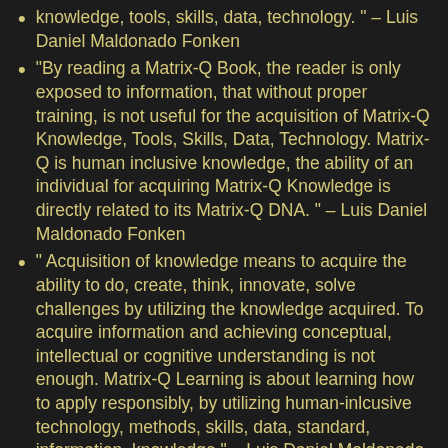knowledge, tools, skills, data, technology. " – Luis Daniel Maldonado Fonken
"By reading a Matrix-Q Book, the reader is only exposed to information, that without proper training, is not useful for the acquisition of Matrix-Q Knowledge, Tools, Skills, Data, Technology. Matrix-Q is human inclusive knowledge, the ability of an individual for acquiring Matrix-Q Knowledge is directly related to its Matrix-Q DNA. " – Luis Daniel Maldonado Fonken
" Acquisition of knowledge means to acquire the ability to do, create, think, innovate, solve challenges by utilizing the knowledge acquired. To acquire information and achieving conceptual, intellectual or cognitive understanding is not enough. Matrix-Q Learning is about learning how to apply responsibly, by utilizing human-inlcusive technology, methods, skills, data, standard, information, knowledge." – Luis Daniel Maldonado Fonken